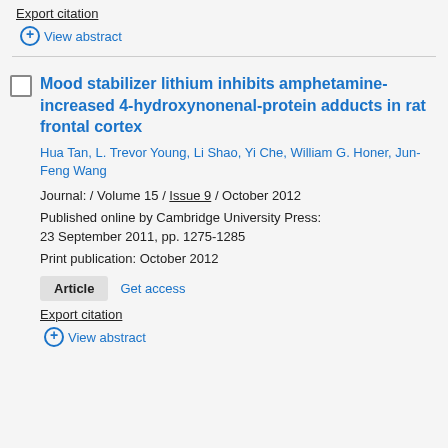Export citation
+ View abstract
Mood stabilizer lithium inhibits amphetamine-increased 4-hydroxynonenal-protein adducts in rat frontal cortex
Hua Tan, L. Trevor Young, Li Shao, Yi Che, William G. Honer, Jun-Feng Wang
Journal: / Volume 15 / Issue 9 / October 2012
Published online by Cambridge University Press: 23 September 2011, pp. 1275-1285
Print publication: October 2012
Article   Get access
Export citation
+ View abstract